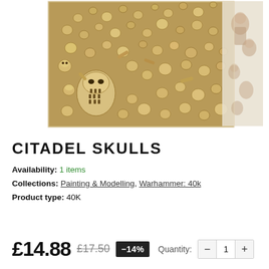[Figure (photo): Photo of Citadel Skulls product — a pile of many small skull and bone miniature pieces in tan/beige tones, with a second faded image of painted miniatures partially visible on the right side.]
CITADEL SKULLS
Availability: 1 items
Collections: Painting & Modelling, Warhammer: 40k
Product type: 40K
£14.88 £17.50 -14% Quantity: — 1 +